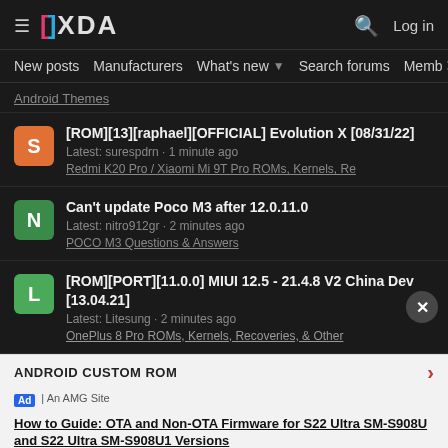XDA Developers - hamburger menu, XDA logo, search icon, Log in
New posts  Manufacturers  What's new  Search forums  Members  >
Android Themes
[ROM][13][raphael][OFFICIAL] Evolution X [08/31/22]
Latest: surespdrn · 1 minute ago
Redmi K20 Pro / Xiaomi Mi 9T Pro ROMs, Kernels, Re
Can't update Poco M3 after 12.0.11.0
Latest: nitro912gr · 2 minutes ago
POCO M3 Questions & Answers
[ROM][PORT][11.0.0] MIUI 12.5 - 21.4.8 V2 China Dev [13.04.21]
Latest: Litesung · 2 minutes ago
OnePlus 8 Pro ROMs, Kernels, Recoveries, & Other
ANDROID CUSTOM ROM
Ad | An AMG Site
How to Guide: OTA and Non-OTA Firmware for S22 Ultra SM-S908U and S22 Ultra SM-S908U1 Versions
Latest: samsung · 2 minutes ago